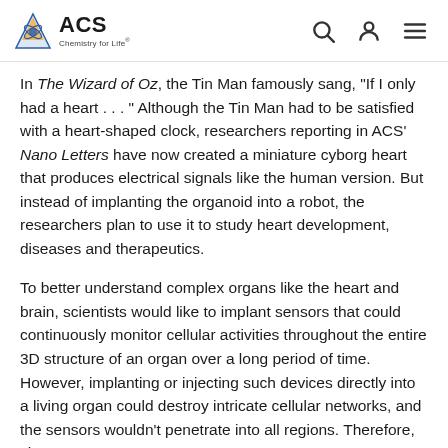ACS Chemistry for Life
In The Wizard of Oz, the Tin Man famously sang, "If I only had a heart . . . " Although the Tin Man had to be satisfied with a heart-shaped clock, researchers reporting in ACS' Nano Letters have now created a miniature cyborg heart that produces electrical signals like the human version. But instead of implanting the organoid into a robot, the researchers plan to use it to study heart development, diseases and therapeutics.
To better understand complex organs like the heart and brain, scientists would like to implant sensors that could continuously monitor cellular activities throughout the entire 3D structure of an organ over a long period of time. However, implanting or injecting such devices directly into a living organ could destroy intricate cellular networks, and the sensors wouldn't penetrate into all regions. Therefore, Jia